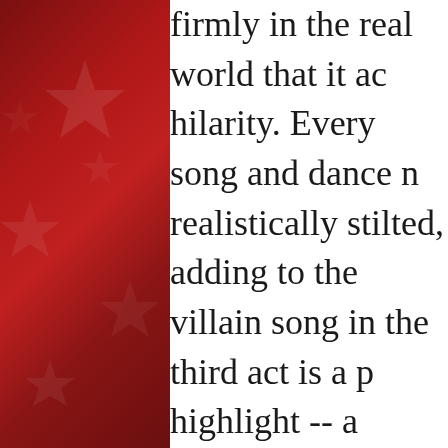[Figure (illustration): Dark red decorative left panel with star/geometric pattern overlay]
firmly in the real world that it ac hilarity. Every song and dance n realistically stilted, adding to the villain song in the third act is a p highlight -- a strange and silly m choreography from someone wh inexperienced and bad at it. It's qualities that contrast so well ag bizarre characters and comedy, e